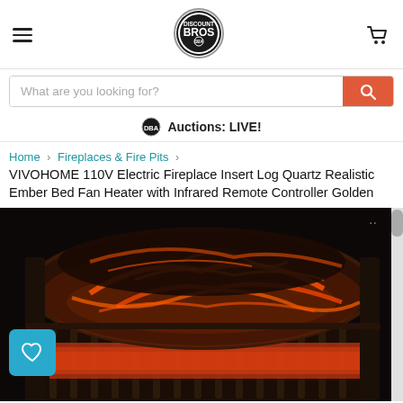[Figure (logo): Discount Bros circular logo with black and white design]
What are you looking for?
Auctions: LIVE!
Home > Fireplaces & Fire Pits >
VIVOHOME 110V Electric Fireplace Insert Log Quartz Realistic Ember Bed Fan Heater with Infrared Remote Controller Golden
[Figure (photo): VIVOHOME electric fireplace insert showing glowing orange-red ember log set in a black metal grate, with realistic flame effect lighting. A teal wishlist heart button is visible bottom-left.]